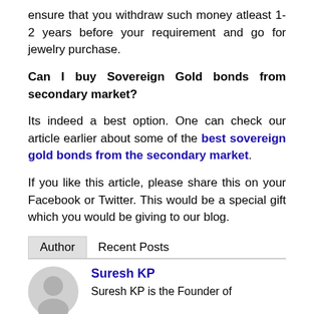ensure that you withdraw such money atleast 1-2 years before your requirement and go for jewelry purchase.
Can I buy Sovereign Gold bonds from secondary market?
Its indeed a best option. One can check our article earlier about some of the best sovereign gold bonds from the secondary market.
If you like this article, please share this on your Facebook or Twitter. This would be a special gift which you would be giving to our blog.
Author   Recent Posts
Suresh KP
Suresh KP is the Founder of